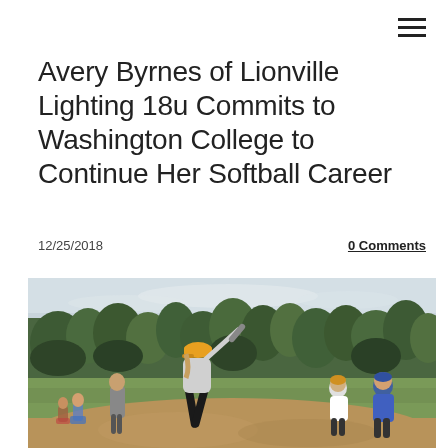Avery Byrnes of Lionville Lighting 18u Commits to Washington College to Continue Her Softball Career
12/25/2018
0 Comments
[Figure (photo): Softball player in orange cap and gray shirt mid-swing at bat on a dirt infield, with green trees in background, other players and spectators visible]